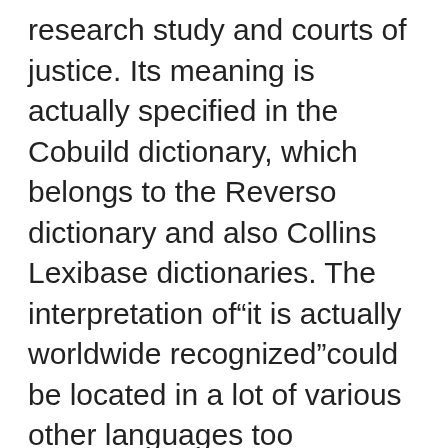research study and courts of justice. Its meaning is actually specified in the Cobuild dictionary, which belongs to the Reverso dictionary and also Collins Lexibase dictionaries. The interpretation of“it is actually worldwide recognized”could be located in a lot of various other languages too
. Relying on https://pastelink.net/xo41btgd , you can select an online training